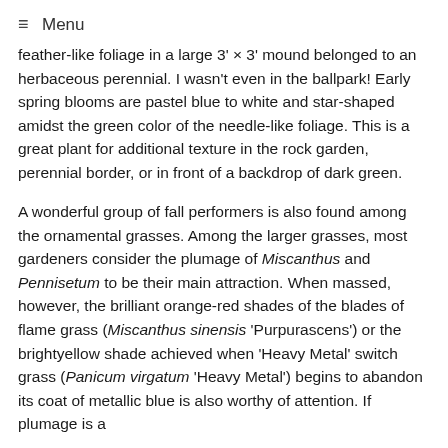≡ Menu
feather-like foliage in a large 3' × 3' mound belonged to an herbaceous perennial. I wasn't even in the ballpark! Early spring blooms are pastel blue to white and star-shaped amidst the green color of the needle-like foliage. This is a great plant for additional texture in the rock garden, perennial border, or in front of a backdrop of dark green.
A wonderful group of fall performers is also found among the ornamental grasses. Among the larger grasses, most gardeners consider the plumage of Miscanthus and Pennisetum to be their main attraction. When massed, however, the brilliant orange-red shades of the blades of flame grass (Miscanthus sinensis 'Purpurascens') or the bright yellow shade achieved when 'Heavy Metal' switch grass (Panicum virgatum 'Heavy Metal') begins to abandon its coat of metallic blue is also worthy of attention. If plumage is a